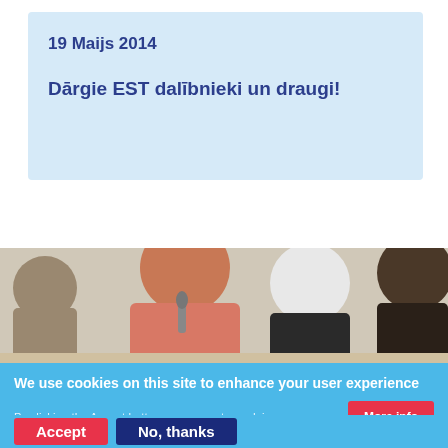19 Maijs 2014
Dārgie EST dalībnieki un draugi!
[Figure (photo): A group of people seated at a table, including a woman in a pink jacket speaking into a microphone, and others including an elderly person with white hair.]
We use cookies on this site to enhance your user experience
By clicking the Accept button, you agree to us doing so.
More info
Accept
No, thanks